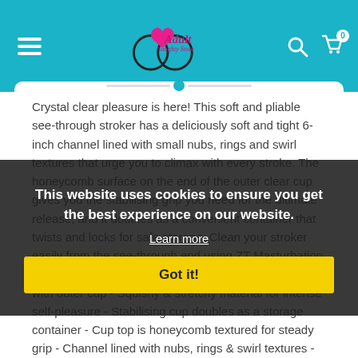[Figure (logo): Adult Naughty Store logo with heart and circular design, teal background header with hamburger menu, search icon, and cart icon]
Crystal clear pleasure is here! This soft and pliable see-through stroker has a deliciously soft and tight 6-inch channel lined with small nubs, rings and swirl textures that urge you to climax with every stroke. The honeycomb surface on the end of the outer clear cup gives you the stabilising grip you need for the ultimate release, and it doubles as a convenient container that twists and locks for safe storage. Clean your stroker easily from the see-through end using ZT Masturbation Cleaner and a warm water rinse. - Crystal clear stroker with outer cup - Squishy & stretchy material for intense self-pleasure - Stabilising cup doubles as a storage container - Cup top is honeycomb textured for steady grip - Channel lined with nubs, rings & swirl textures -
This website uses cookies to ensure you get the best experience on our website.
Learn more
Got it!